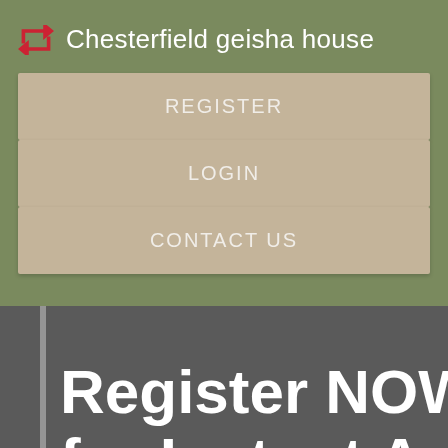Chesterfield geisha house
REGISTER
LOGIN
CONTACT US
Register NOW for Instant Acc...